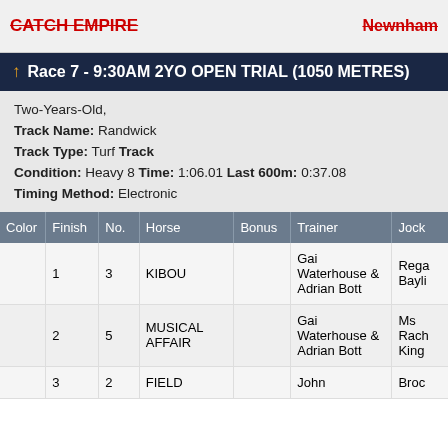Newnham
Race 7 - 9:30AM 2YO OPEN TRIAL (1050 METRES)
Two-Years-Old,
Track Name: Randwick
Track Type: Turf Track
Condition: Heavy 8 Time: 1:06.01 Last 600m: 0:37.08
Timing Method: Electronic
| Color | Finish | No. | Horse | Bonus | Trainer | Jockey |
| --- | --- | --- | --- | --- | --- | --- |
|  | 1 | 3 | KIBOU |  | Gai Waterhouse & Adrian Bott | Rega Bayli |
|  | 2 | 5 | MUSICAL AFFAIR |  | Gai Waterhouse & Adrian Bott | Ms Rach King |
|  | 3 | 2 | FIELD |  | John | Broc |